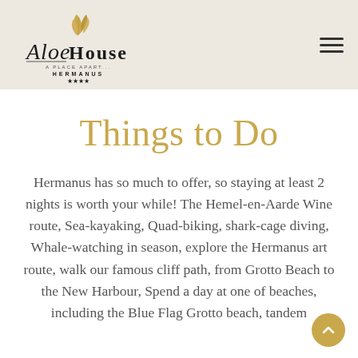[Figure (logo): Aloe House logo with golden leaf emblem, script and serif text reading 'Aloe House', tagline 'A Place Apart... Hermanus' with four stars]
Things to Do
Hermanus has so much to offer, so staying at least 2 nights is worth your while! The Hemel-en-Aarde Wine route, Sea-kayaking, Quad-biking, shark-cage diving, Whale-watching in season, explore the Hermanus art route, walk our famous cliff path, from Grotto Beach to the New Harbour, Spend a day at one of beaches, including the Blue Flag Grotto beach, tandem